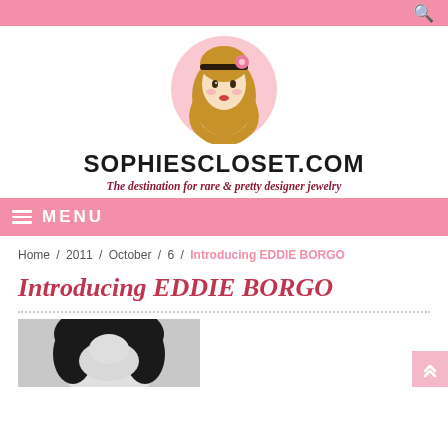SOPHIESCLOSET.COM — The destination for rare & pretty designer jewelry
[Figure (logo): Illustrated logo of a girl with brown hair and a flower headband inside a pink circle]
SOPHIESCLOSET.COM
The destination for rare & pretty designer jewelry
MENU
Home / 2011 / October / 6 / Introducing EDDIE BORGO
Introducing EDDIE BORGO
[Figure (photo): Black and white photo of a person with dark hair, partial view]